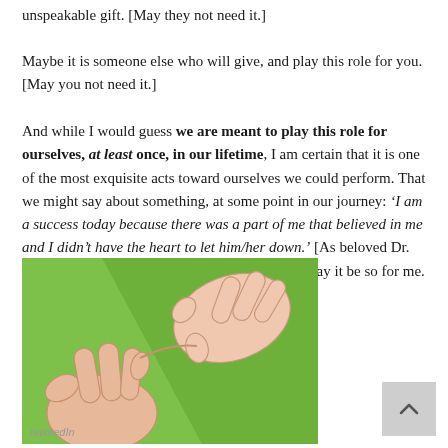unspeakable gift. [May they not need it.]
Maybe it is someone else who will give, and play this role for you. [May you not need it.]
And while I would guess we are meant to play this role for ourselves, at least once, in our lifetime, I am certain that it is one of the most exquisite acts toward ourselves we could perform. That we might say about something, at some point in our journey: ‘I am a success today because there was a part of me that believed in me and I didn’t have the heart to let him/her down.’ [As beloved Dr. Pinkola-Estes says, ‘May it be so for you. And may it be so for me. May it be so for all of us.’]
[Figure (illustration): Illustration of two hands clasped together in a pinky-link or handhold gesture against a green background, cartoon/line-art style. Watermark text 'bakkedIn' at lower left.]